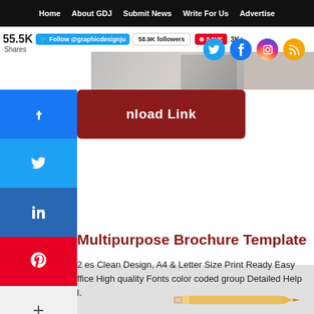Home  About GDJ  Submit News  Write For Us  Advertise
55.5K  Follow @graphicdesignju  58.9K followers  SAVE  3K+
Shares
[Figure (screenshot): Social share sidebar buttons: Facebook (blue), Twitter (light blue), LinkedIn (dark blue), Pinterest (red), More (+) button]
nload Link
Multipurpose Brochure Template
2 es Clean Design, A4 & Letter Size Print Ready Easy   ffice High quality Fonts color coded group Detailed Help  l.